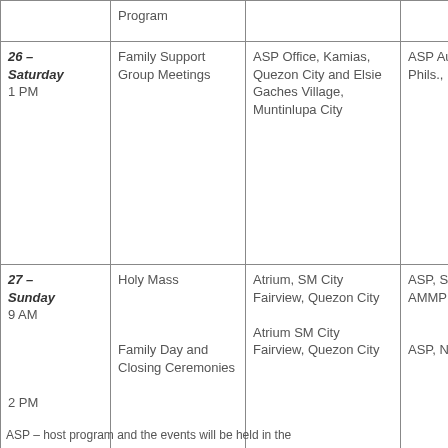| Date | Program | Venue | Organizer |
| --- | --- | --- | --- |
| 26 – Saturday
1 PM | Family Support Group Meetings | ASP Office, Kamias, Quezon City and Elsie Gaches Village, Muntinlupa City | ASP Autism He Phils., Inc |
| 27 – Sunday
9 AM

2 PM | Holy Mass

Family Day and Closing Ceremonies | Atrium, SM City Fairview, Quezon City

Atrium SM City Fairview, Quezon City | ASP, SM, AMMPD

ASP, NCD SM |
| 20-27 (weeklong) | Photo/Artworks Exhibits (Three exhibits) | TBA | ASP, UP CAMP, AA AHPI |
ASP – host program and the events will be held in the...